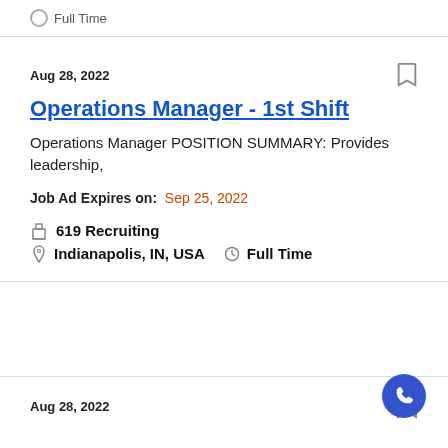Full Time
Aug 28, 2022
Operations Manager - 1st Shift
Operations Manager POSITION SUMMARY: Provides leadership,
Job Ad Expires on: Sep 25, 2022
619 Recruiting
Indianapolis, IN, USA   Full Time
Aug 28, 2022